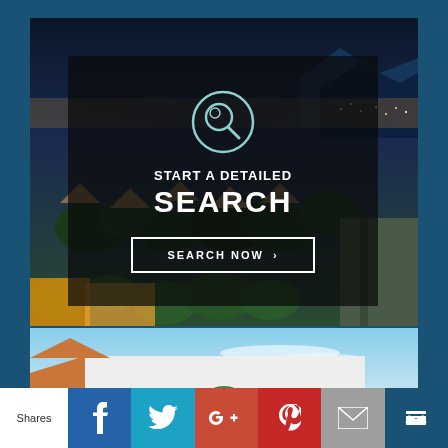[Figure (photo): Aerial night/dusk view of a residential neighborhood with city lights in background, overlaid with dark semi-transparent panel containing search call-to-action text and button]
START A DETAILED SEARCH
SEARCH NOW ›
[Figure (photo): Partial view of a house with blue sky background and green circular icon partially visible]
Shares